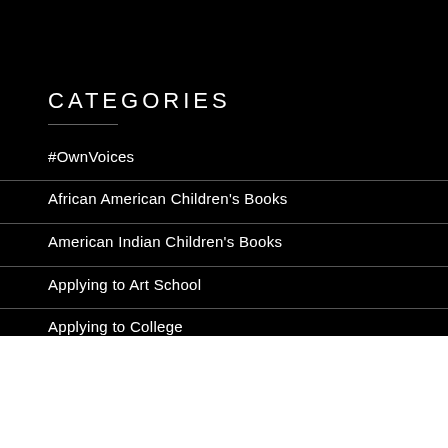CATEGORIES
#OwnVoices
African American Children's Books
American Indian Children's Books
Applying to Art School
Applying to College
This website uses cookies to improve your experience. We'll assume you're ok with this, but you can opt-out if you wish.
Accept
Read More